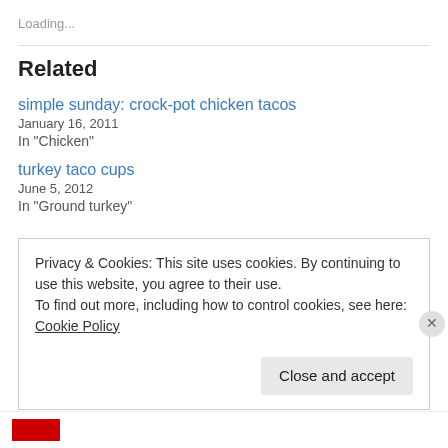Loading...
Related
simple sunday: crock-pot chicken tacos
January 16, 2011
In "Chicken"
turkey taco cups
June 5, 2012
In "Ground turkey"
Privacy & Cookies: This site uses cookies. By continuing to use this website, you agree to their use.
To find out more, including how to control cookies, see here: Cookie Policy